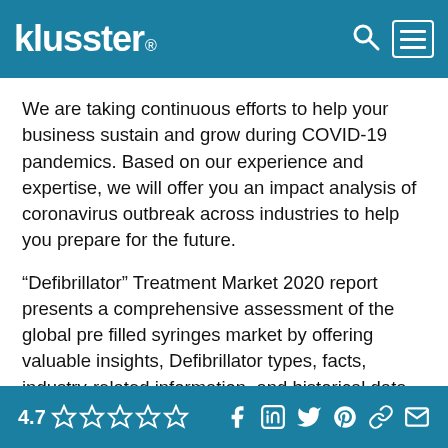klusster®
We are taking continuous efforts to help your business sustain and grow during COVID-19 pandemics. Based on our experience and expertise, we will offer you an impact analysis of coronavirus outbreak across industries to help you prepare for the future.
“Defibrillator” Treatment Market 2020 report presents a comprehensive assessment of the global pre filled syringes market by offering valuable insights, Defibrillator types, facts, industry-related information, and historical data. Several methodologies and approaches are adopted to make meaningful assumptions and
4.7 ☆☆☆☆☆